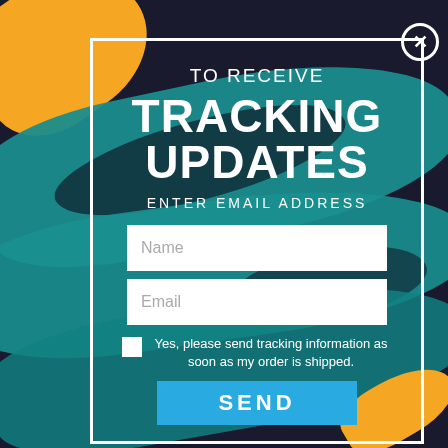[Figure (screenshot): Email tracking popup modal with colorful brush stroke background in teal, navy, yellow, and black. Modal has white border, close X button, heading text, input fields for Name and Email, a checkbox, and a SEND button.]
TO RECEIVE TRACKING UPDATES
ENTER EMAIL ADDRESS
Name
Email
Yes, please send tracking information as soon as my order is shipped.
SEND